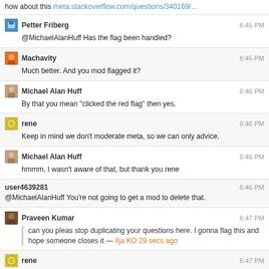how about this meta.stackoverflow.com/questions/340169/...
Petter Friberg 6:45 PM @MichaelAlanHuff Has the flag been handled?
Machavity 6:45 PM Much better. And you mod flagged it?
Michael Alan Huff 6:46 PM By that you mean "clicked the red flag" then yes.
rene 6:46 PM Keep in mind we don't moderate meta, so we can only advice.
Michael Alan Huff 6:46 PM hmmm, I wasn't aware of that, but thank you rene
user4639281 6:46 PM @MichaelAlanHuff You're not going to get a mod to delete that.
Praveen Kumar 6:47 PM can you pleas stop duplicating your questions here. I gonna flag this and hope someone closes it — Ilja KO 29 secs ago
rene 6:47 PM @MichaelAlanHuff go here to see if the flag is handled or not: meta.stackoverflow.com/users/flag-summary/1922685
Michael Alan Huff 6:48 PM